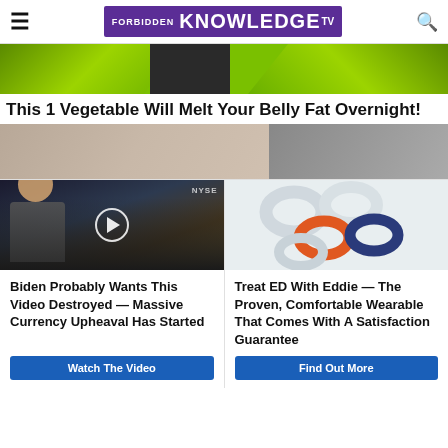FORBIDDEN KNOWLEDGE TV
[Figure (photo): Green jacket/clothing advertisement hero image strip]
This 1 Vegetable Will Melt Your Belly Fat Overnight!
[Figure (photo): Promoted ad banner with skin/fabric texture, Promoted label with X]
[Figure (photo): Video thumbnail showing person at NYSE with play button overlay — Biden Probably Wants This Video Destroyed]
[Figure (photo): Product photo of Eddie wearable device rings in white, orange, navy colors]
Biden Probably Wants This Video Destroyed — Massive Currency Upheaval Has Started
Watch The Video
Treat ED With Eddie — The Proven, Comfortable Wearable That Comes With A Satisfaction Guarantee
Find Out More